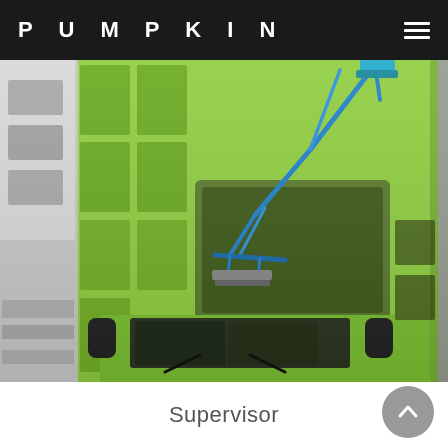PUMPKIN
[Figure (photo): 3D rendering of a lime-green electric bus viewed from above and front angle, showing pantograph charging arm mechanism on the roof, with adjacent grey building structure. The bus has a black front with windshield wipers, side mirrors, and the pantograph arm is depicted in blue connecting to overhead infrastructure.]
Supervisor